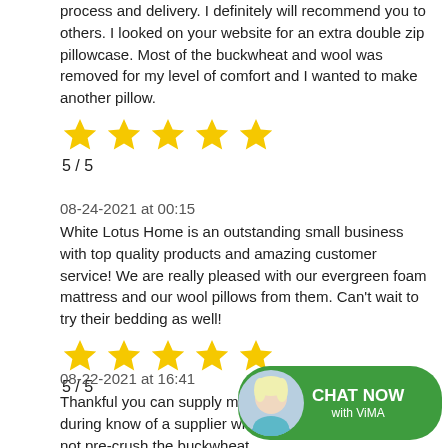process and delivery. I definitely will recommend you to others. I looked on your website for an extra double zip pillowcase. Most of the buckwheat and wool was removed for my level of comfort and I wanted to make another pillow.
[Figure (other): 5 gold stars rating]
5  / 5
08-24-2021 at 00:15
White Lotus Home is an outstanding small business with top quality products and amazing customer service! We are really pleased with our evergreen foam mattress and our wool pillows from them. Can't wait to try their bedding as well!
[Figure (other): 5 gold stars rating]
5  / 5
08-22-2021 at 16:41
Thankful you can supply my needs during know of a supplier who does not pre-crush the buckwheat hulls..... I would purchase those as
[Figure (other): Chat Now with ViMA widget — green rounded button with avatar]